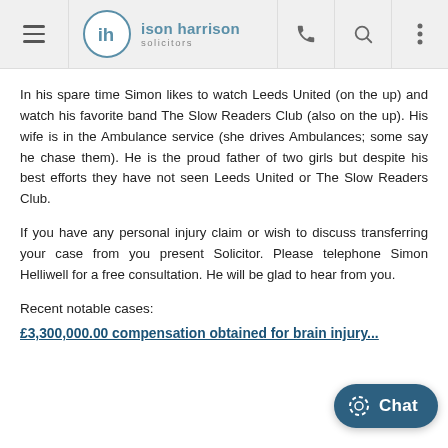ison harrison solicitors
In his spare time Simon likes to watch Leeds United (on the up) and watch his favorite band The Slow Readers Club (also on the up). His wife is in the Ambulance service (she drives Ambulances; some say he chase them). He is the proud father of two girls but despite his best efforts they have not seen Leeds United or The Slow Readers Club.
If you have any personal injury claim or wish to discuss transferring your case from you present Solicitor. Please telephone Simon Helliwell for a free consultation. He will be glad to hear from you.
Recent notable cases:
£3,300,000.00 compensation obtained for brain injury...